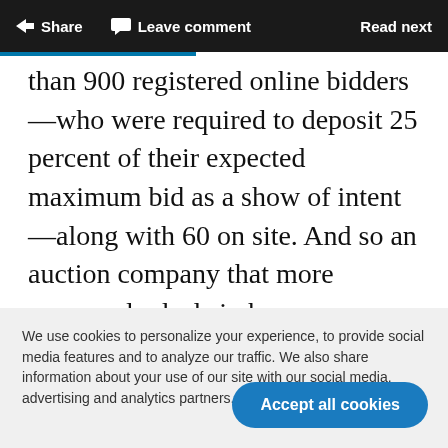Share   Leave comment   Read next
than 900 registered online bidders—who were required to deposit 25 percent of their expected maximum bid as a show of intent—along with 60 on site. And so an auction company that more commonly deals in homes now holds the record
We use cookies to personalize your experience, to provide social media features and to analyze our traffic. We also share information about your use of our site with our social media, advertising and analytics partners. Cookie Settings
Accept all cookies